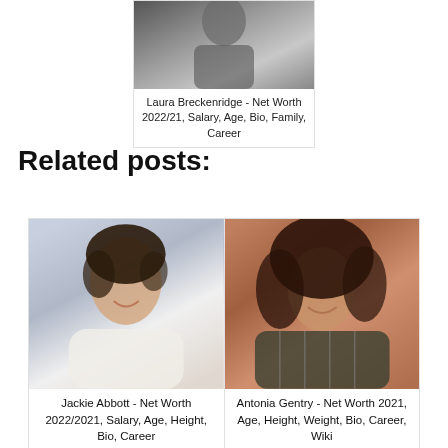[Figure (photo): Photo of Laura Breckenridge - partial upper body shot of a woman in black top with dark hair]
Laura Breckenridge - Net Worth 2022/21, Salary, Age, Bio, Family, Career
Related posts:
[Figure (photo): Headshot of Jackie Abbott - woman with short dark curly hair, smiling, wearing white lace top, blue/grey background]
Jackie Abbott - Net Worth 2022/2021, Salary, Age, Height, Bio, Career
[Figure (photo): Photo of Antonia Gentry - woman with long curly dark hair, smiling, wearing plaid flannel shirt]
Antonia Gentry - Net Worth 2021, Age, Height, Weight, Bio, Career, Wiki